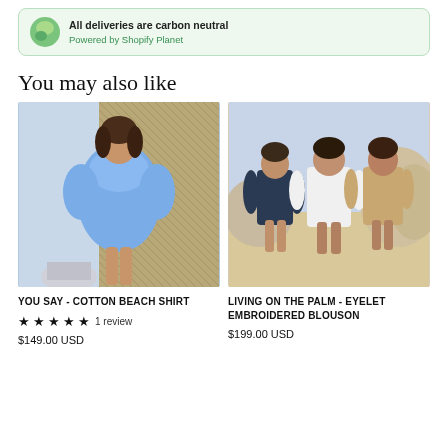[Figure (infographic): Shopify Planet banner: leaf/globe icon, text 'All deliveries are carbon neutral', 'Powered by Shopify Planet' in green]
You may also like
[Figure (photo): Woman wearing a light blue cotton beach shirt, standing in front of a thatched wall]
[Figure (photo): Three women wearing blousons on a sandy beach: one in dark navy, one in white, one in tan/beige]
YOU SAY - COTTON BEACH SHIRT
★★★★★ 1 review
$149.00 USD
LIVING ON THE PALM - EYELET EMBROIDERED BLOUSON
$199.00 USD